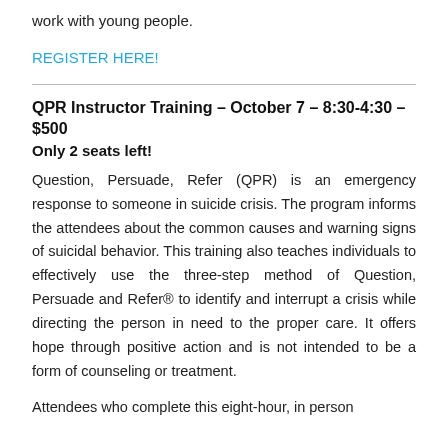work with young people.
REGISTER HERE!
QPR Instructor Training – October 7 – 8:30-4:30 – $500
Only 2 seats left!
Question, Persuade, Refer (QPR) is an emergency response to someone in suicide crisis. The program informs the attendees about the common causes and warning signs of suicidal behavior. This training also teaches individuals to effectively use the three-step method of Question, Persuade and Refer® to identify and interrupt a crisis while directing the person in need to the proper care. It offers hope through positive action and is not intended to be a form of counseling or treatment.
Attendees who complete this eight-hour, in person